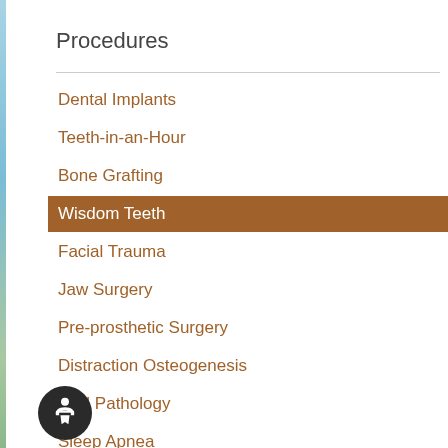Procedures
Dental Implants
Teeth-in-an-Hour
Bone Grafting
Wisdom Teeth
Facial Trauma
Jaw Surgery
Pre-prosthetic Surgery
Distraction Osteogenesis
Oral Pathology
Sleep Apnea